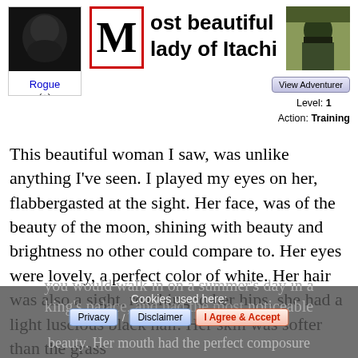[Figure (photo): Dark avatar image on left side, user named Rogue]
Most beautiful lady of Itachi
[Figure (photo): Avatar image on right side showing a person with face covered]
View Adventurer
Level: 1
Action: Training
This beautiful woman I saw, was unlike anything I've seen. I played my eyes on her, flabbergasted at the sight. Her face, was of the beauty of the moon, shining with beauty and brightness no other could compare to. Her eyes were lovely, a perfect color of white. Her hair was also a sight, reaching to her hips, she had a light luscious black hair. Her skin was softer than the grass you would walk in on a summer's day in a king's palace, and had the most noticeable beauty. Her mouth had the perfect composure
Cookies used here:
Privacy / Disclaimer / I Agree & Accept